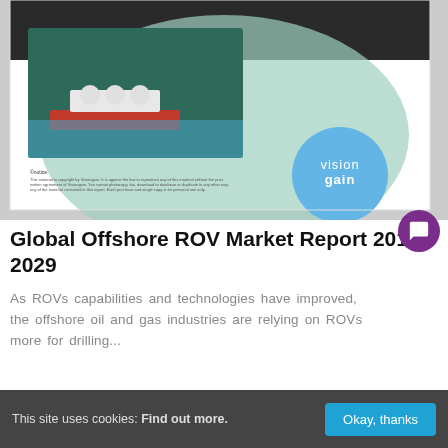[Figure (photo): Screenshot of a Visiongain report cover page showing an aerial/satellite photo of an LNG tanker ship on water, with the Visiongain logo (blue circle with text 'visiongain') and small copyright disclaimer text at the bottom of the cover.]
Global Offshore ROV Market Report 2019-2029
As ROVs capabilities and technologies have improved, the offshore oil and gas industries are relying on ROVs more for drilling...
This site uses cookies: Find out more.   Okay, thanks